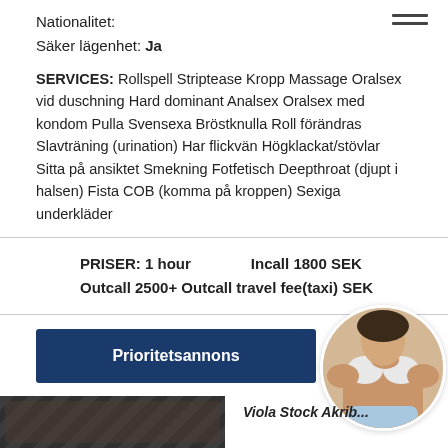Nationalitet:
Säker lägenhet: Ja
SERVICES: Rollspell Striptease Kropp Massage Oralsex vid duschning Hard dominant Analsex Oralsex med kondom Pulla Svensexa Bröstknulla Roll förändras Slavträning (urination) Har flickvän Högklackat/stövlar Sitta på ansiktet Smekning Fotfetisch Deepthroat (djupt i halsen) Fista COB (komma på kroppen) Sexiga underkläder
PRISER: 1 hour    Incall 1800 SEK
Outcall 2500+ Outcall travel fee(taxi) SEK
Prioritetsannons
[Figure (photo): Circular profile photo of a woman in a white bra]
[Figure (photo): Dark/textured image strip at the bottom left]